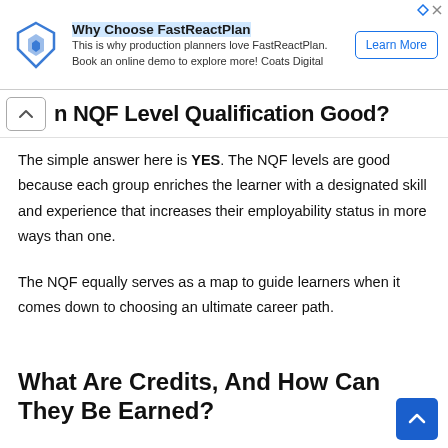[Figure (other): Advertisement banner for FastReactPlan with logo, text 'Why Choose FastReactPlan', description about production planners and a Learn More button.]
…n NQF Level Qualification Good?
The simple answer here is YES. The NQF levels are good because each group enriches the learner with a designated skill and experience that increases their employability status in more ways than one.
The NQF equally serves as a map to guide learners when it comes down to choosing an ultimate career path.
What Are Credits, And How Can They Be Earned?